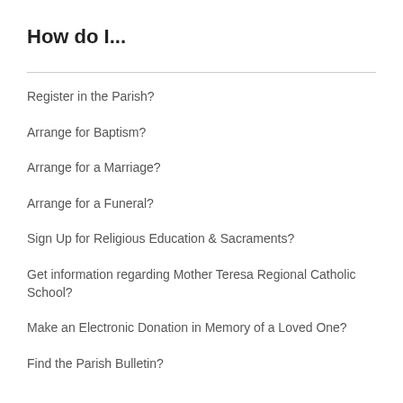How do I...
Register in the Parish?
Arrange for Baptism?
Arrange for a Marriage?
Arrange for a Funeral?
Sign Up for Religious Education & Sacraments?
Get information regarding Mother Teresa Regional Catholic School?
Make an Electronic Donation in Memory of a Loved One?
Find the Parish Bulletin?